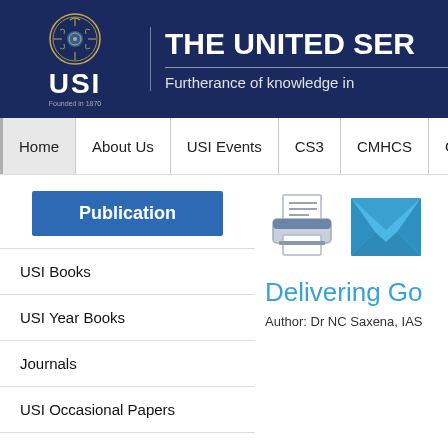THE UNITED SER... USI — Furtherance of knowledge in...
Home | About Us | USI Events | CS3 | CMHCS | Cours...
Publication
USI Books
USI Year Books
Journals
USI Occasional Papers
Strategic Perspectives
[Figure (illustration): Printer icon and email/envelope icon]
Delivering Go
Author: Dr NC Saxena, IAS